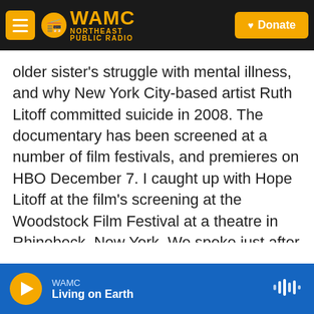[Figure (screenshot): WAMC Northeast Public Radio website header with logo, menu button, and Donate button]
older sister’s struggle with mental illness, and why New York City-based artist Ruth Litoff committed suicide in 2008. The documentary has been screened at a number of film festivals, and premieres on HBO December 7. I caught up with Hope Litoff at the film’s screening at the Woodstock Film Festival at a theatre in Rhinebeck, New York. We spoke just after she held a q & a with the audience, during which she said she thought the film would be cathartic for her, but it wasn’t, so I asked her if she were glad she made the film.
[Figure (screenshot): WAMC audio player footer showing play button, station name WAMC, program name Living on Earth, and waveform icon]